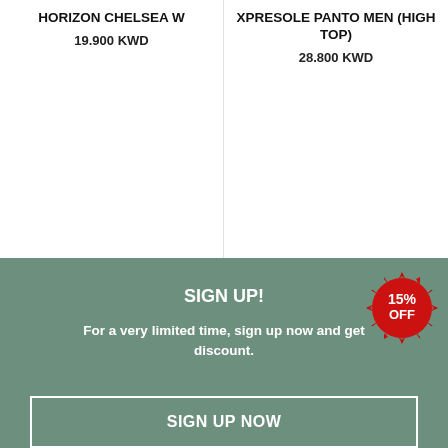HORIZON CHELSEA W
19.900 KWD
XPRESOLE PANTO MEN (HIGH TOP)
28.800 KWD
SIGN UP!
For a very limited time, sign up now and get 15% discount.
[Figure (infographic): Red circular badge with rays showing '15% OFF']
SIGN UP NOW